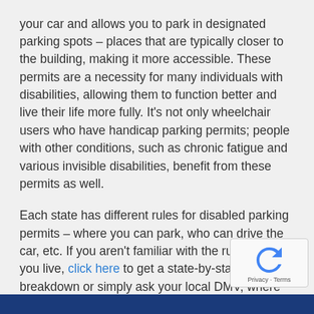your car and allows you to park in designated parking spots – places that are typically closer to the building, making it more accessible. These permits are a necessity for many individuals with disabilities, allowing them to function better and live their life more fully. It's not only wheelchair users who have handicap parking permits; people with other conditions, such as chronic fatigue and various invisible disabilities, benefit from these permits as well.
Each state has different rules for disabled parking permits – where you can park, who can drive the car, etc. If you aren't familiar with the rules where you live, click here to get a state-by-state breakdown or simply ask your local DMV, where an employee will be happy to explain the rules to you.
[Figure (other): reCAPTCHA widget with rotating arrows icon and Privacy - Terms text]